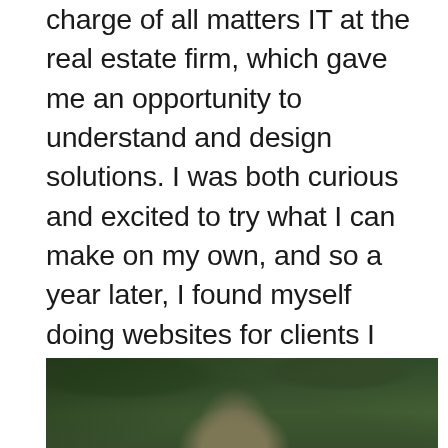charge of all matters IT at the real estate firm, which gave me an opportunity to understand and design solutions. I was both curious and excited to try what I can make on my own, and so a year later, I found myself doing websites for clients I found at local classified ads. During this time, everything was coded in Notepad and Dreamweaver. Eventually, WordPress came and I jumped into it. I'm now using WordPress almost exclusively for all my clients.
[Figure (photo): Portrait photo of a person with dark hair, outdoors with green foliage and buildings visible in the background]